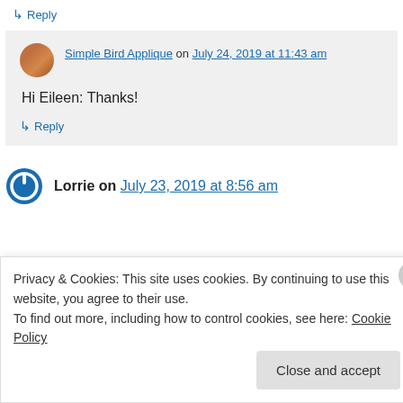↳ Reply
Simple Bird Applique on July 24, 2019 at 11:43 am
Hi Eileen: Thanks!
↳ Reply
Lorrie on July 23, 2019 at 8:56 am
Privacy & Cookies: This site uses cookies. By continuing to use this website, you agree to their use.
To find out more, including how to control cookies, see here: Cookie Policy
Close and accept